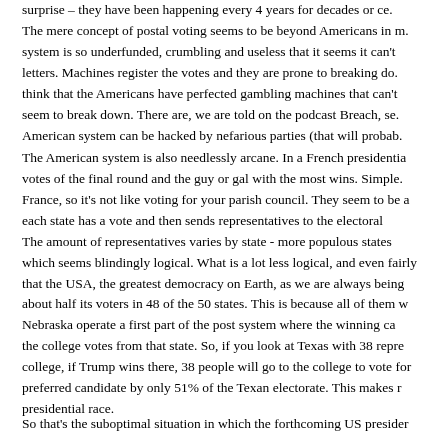surprise – they have been happening every 4 years for decades or ce. The mere concept of postal voting seems to be beyond Americans in m. system is so underfunded, crumbling and useless that it seems it can't letters. Machines register the votes and they are prone to breaking do. think that the Americans have perfected gambling machines that can't seem to break down. There are, we are told on the podcast Breach, se. American system can be hacked by nefarious parties (that will probab.
The American system is also needlessly arcane. In a French presidentia votes of the final round and the guy or gal with the most wins. Simple. France, so it's not like voting for your parish council. They seem to be a each state has a vote and then sends representatives to the electoral The amount of representatives varies by state - more populous states which seems blindingly logical. What is a lot less logical, and even fairly that the USA, the greatest democracy on Earth, as we are always being about half its voters in 48 of the 50 states. This is because all of them w Nebraska operate a first part of the post system where the winning ca the college votes from that state. So, if you look at Texas with 38 repre college, if Trump wins there, 38 people will go to the college to vote for preferred candidate by only 51% of the Texan electorate. This makes r presidential race.
So that's the suboptimal situation in which the forthcoming US presider